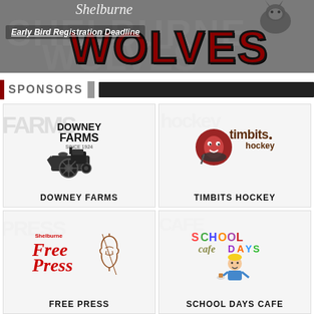[Figure (illustration): Shelburne Wolves hockey banner with wolf mascot silhouette, dark red 'WOLVES' text in large bold font, cursive 'Shelburne' text above, and 'Early Bird Registration Deadline' underlined text overlay]
SPONSORS
[Figure (logo): Downey Farms logo with vintage tractor illustration and text 'DOWNEY FARMS SINCE 1924', caption DOWNEY FARMS below]
[Figure (logo): Timbits Hockey logo with hockey puck character and colorful text, caption TIMBITS HOCKEY below]
[Figure (logo): Shelburne Free Press logo with violin illustration and red cursive Free Press text, caption FREE PRESS below]
[Figure (logo): School Days Cafe logo with colorful block letters and cartoon student character, caption SCHOOL DAYS CAFE below]